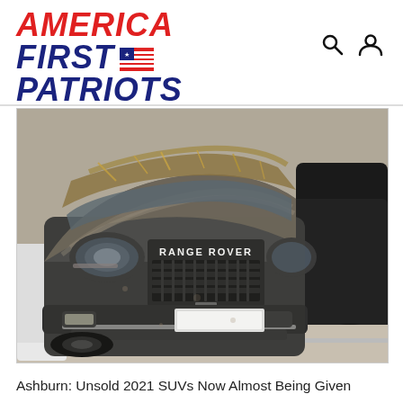AMERICA FIRST PATRIOTS
[Figure (photo): A dusty, dirty dark grey Range Rover SUV parked closely between other vehicles, covered in grime and dust on the hood and body. The front grille reads RANGE ROVER. A blurred license plate is visible. The scene appears to be an outdoor parking lot or impound yard.]
Ashburn: Unsold 2021 SUVs Now Almost Being Given